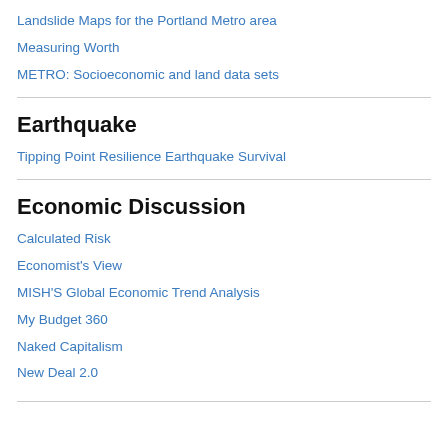Landslide Maps for the Portland Metro area
Measuring Worth
METRO: Socioeconomic and land data sets
Earthquake
Tipping Point Resilience Earthquake Survival
Economic Discussion
Calculated Risk
Economist's View
MISH'S Global Economic Trend Analysis
My Budget 360
Naked Capitalism
New Deal 2.0